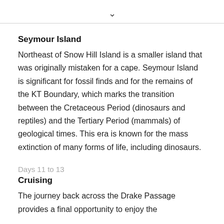Seymour Island
Northeast of Snow Hill Island is a smaller island that was originally mistaken for a cape. Seymour Island is significant for fossil finds and for the remains of the KT Boundary, which marks the transition between the Cretaceous Period (dinosaurs and reptiles) and the Tertiary Period (mammals) of geological times. This era is known for the mass extinction of many forms of life, including dinosaurs.
Days 11 to 13
Cruising
The journey back across the Drake Passage provides a final opportunity to enjoy the